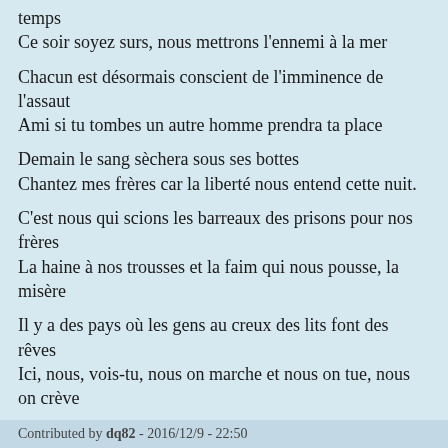temps
Ce soir soyez surs, nous mettrons l'ennemi à la mer
Chacun est désormais conscient de l'imminence de l'assaut
Ami si tu tombes un autre homme prendra ta place
Demain le sang sèchera sous ses bottes
Chantez mes frères car la liberté nous entend cette nuit.
C'est nous qui scions les barreaux des prisons pour nos frères
La haine à nos trousses et la faim qui nous pousse, la misère
Il y a des pays où les gens au creux des lits font des rêves
Ici, nous, vois-tu, nous on marche et nous on tue, nous on crève
Contributed by dq82 - 2016/12/9 - 22:50